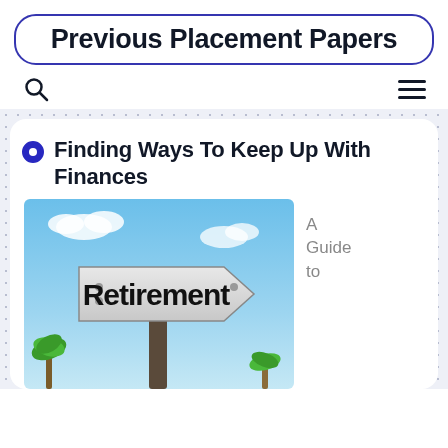Previous Placement Papers
Finding Ways To Keep Up With Finances
[Figure (photo): A road sign reading 'Retirement' on a post against a blue sky with palm trees, representing retirement planning.]
A Guide to